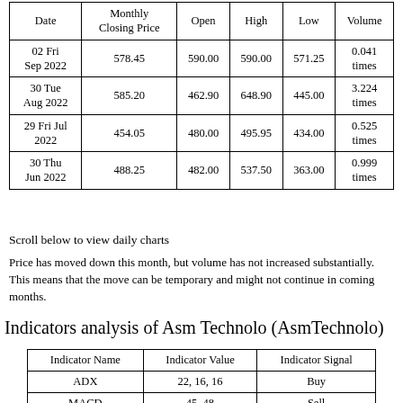| Date | Monthly Closing Price | Open | High | Low | Volume |
| --- | --- | --- | --- | --- | --- |
| 02 Fri
Sep 2022 | 578.45 | 590.00 | 590.00 | 571.25 | 0.041 times |
| 30 Tue
Aug 2022 | 585.20 | 462.90 | 648.90 | 445.00 | 3.224 times |
| 29 Fri Jul
2022 | 454.05 | 480.00 | 495.95 | 434.00 | 0.525 times |
| 30 Thu
Jun 2022 | 488.25 | 482.00 | 537.50 | 363.00 | 0.999 times |
Scroll below to view daily charts
Price has moved down this month, but volume has not increased substantially. This means that the move can be temporary and might not continue in coming months.
Indicators analysis of Asm Technolo (AsmTechnolo)
| Indicator Name | Indicator Value | Indicator Signal |
| --- | --- | --- |
| ADX | 22, 16, 16 | Buy |
| MACD | 45, 48 | Sell |
| Stochastics | 42 | None |